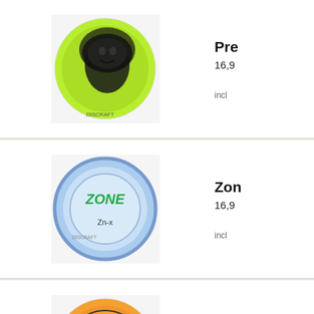[Figure (photo): Disc golf disc - green disc with lion head design (Predator)]
Pre...
16,9...
incl...
[Figure (photo): Disc golf disc - light blue Zone disc with Zn-x branding]
Zon...
16,9...
incl...
[Figure (photo): Disc golf disc - orange Undermoney disc]
Und...
16,9...
incl...
[Figure (photo): Disc golf disc - teal/cyan Buzzz Discraft disc]
Buz...
20,9...
incl...
[Figure (photo): Disc golf disc - green disc (Hea... partially visible)]
Hea...